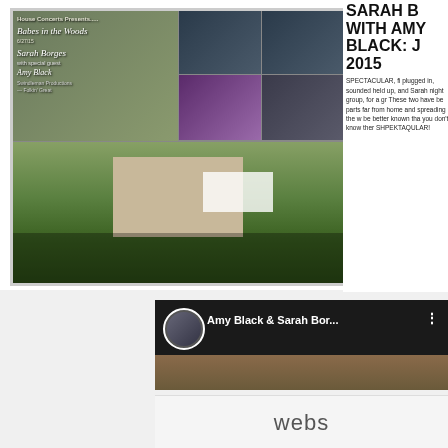[Figure (photo): Collage of concert photos: event flyer for 'Babes in the Woods' house concert featuring Sarah Borges and Amy Black, performer portraits, and outdoor venue/backyard landscape photo with white tent]
SARAH B WITH AMY BLACK: J 2015
SPECTACULAR, fi plugged in, sounded held up, and Sarah night group, for a gr These two have be parts far from home and spreading the w be better known tha you don't know ther SHPEKTAQULAR!
[Figure (screenshot): Video thumbnail showing Amy Black & Sarah Bor... with avatar photo and menu dots, landscape image below]
webs